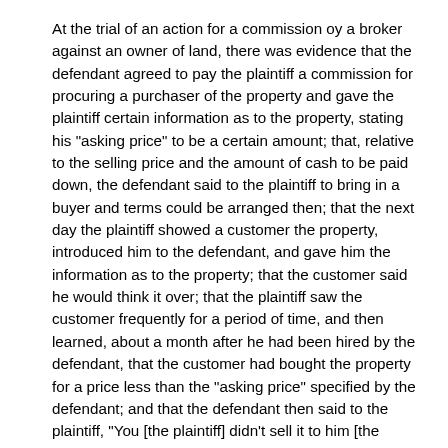At the trial of an action for a commission oy a broker against an owner of land, there was evidence that the defendant agreed to pay the plaintiff a commission for procuring a purchaser of the property and gave the plaintiff certain information as to the property, stating his "asking price" to be a certain amount; that, relative to the selling price and the amount of cash to be paid down, the defendant said to the plaintiff to bring in a buyer and terms could be arranged then; that the next day the plaintiff showed a customer the property, introduced him to the defendant, and gave him the information as to the property; that the customer said he would think it over; that the plaintiff saw the customer frequently for a period of time, and then learned, about a month after he had been hired by the defendant, that the customer had bought the property for a price less than the "asking price" specified by the defendant; and that the defendant then said to the plaintiff, "You [the plaintiff] didn't sell it to him [the purchaser] when you had him here, my son called down later and sold it to him." The purchaser testified that the sale was brought about by the defendant's son. The trial judge denied a motion by the defendant that a verdict be ordered in his favor. Held, that